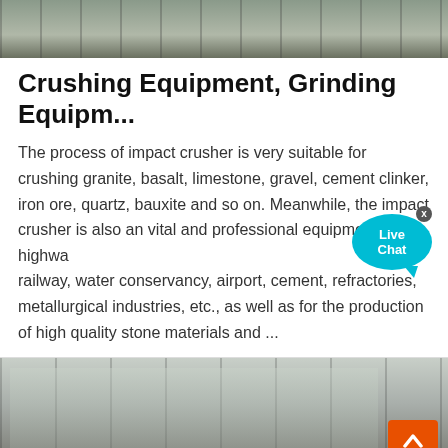[Figure (photo): Aerial/overhead view of industrial crushing/grinding equipment facility]
Crushing Equipment, Grinding Equipm...
The process of impact crusher is very suitable for crushing granite, basalt, limestone, gravel, cement clinker, iron ore, quartz, bauxite and so on. Meanwhile, the impact crusher is also an vital and professional equipment for highway, railway, water conservancy, airport, cement, refractories, metallurgical industries, etc., as well as for the production of high quality stone materials and ...
[Figure (photo): Interior of industrial facility with large windows and equipment]
[Figure (screenshot): Live chat interface with Leave Message and Chat Online options and agent avatar]